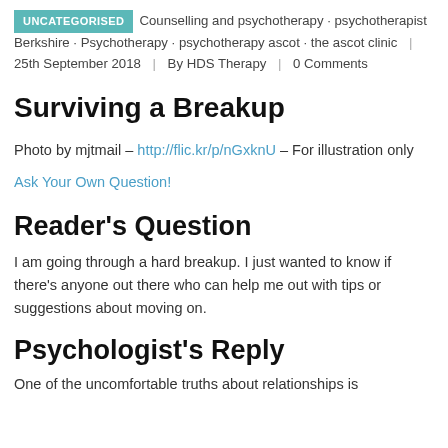UNCATEGORISED · Counselling and psychotherapy · psychotherapist Berkshire · Psychotherapy · psychotherapy ascot · the ascot clinic | 25th September 2018 | By HDS Therapy | 0 Comments
Surviving a Breakup
Photo by mjtmail – http://flic.kr/p/nGxknU – For illustration only
Ask Your Own Question!
Reader's Question
I am going through a hard breakup. I just wanted to know if there's anyone out there who can help me out with tips or suggestions about moving on.
Psychologist's Reply
One of the uncomfortable truths about relationships is